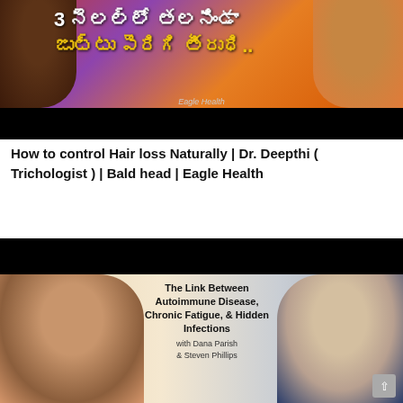[Figure (screenshot): Video thumbnail showing two people (woman with curly hair on left, man in orange shirt on right) with Telugu text overlay reading hair growth in 3 months and Eagle Health watermark]
How to control Hair loss Naturally | Dr. Deepthi ( Trichologist ) | Bald head | Eagle Health
[Figure (screenshot): Podcast/video thumbnail with woman with curly hair on left, older man in suit on right, center text: The Link Between Autoimmune Disease, Chronic Fatigue, & Hidden Infections with Dana Parish & Steven Phillips]